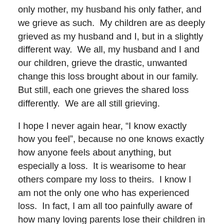only mother, my husband his only father, and we grieve as such. My children are as deeply grieved as my husband and I, but in a slightly different way. We all, my husband and I and our children, grieve the drastic, unwanted change this loss brought about in our family. But still, each one grieves the shared loss differently. We are all still grieving.
I hope I never again hear, “I know exactly how you feel”, because no one knows exactly how anyone feels about anything, but especially a loss. It is wearisome to hear others compare my loss to theirs. I know I am not the only one who has experienced loss. In fact, I am all too painfully aware of how many loving parents lose their children in the most horrific ways. Every loss is unique and every loss is significant to someone. It doesn’t help me to have someone explain their loss to me, especially when they’ve lost an older person who is closer to the natural time to die than 25 years old. I understand that others want me to